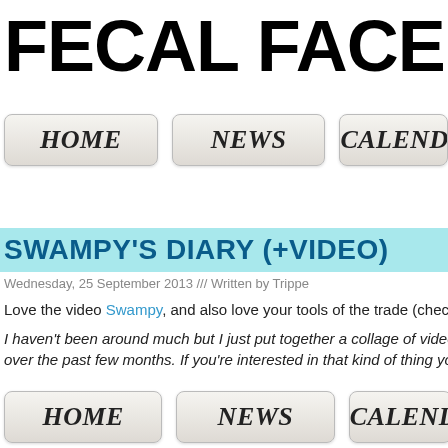FECAL FACE D
[Figure (screenshot): Navigation bar with HOME, NEWS, CALENDA (partially visible) buttons styled as rounded grey gradient pills]
SWAMPY'S DIARY (+VIDEO)
Wednesday, 25 September 2013 /// Written by Trippe
Love the video Swampy, and also love your tools of the trade (check photo below
I haven't been around much but I just put together a collage of video moments I'v... over the past few months. If you're interested in that kind of thing you should ch...
[Figure (screenshot): Bottom navigation bar with HOME, NEWS, CALENDA (partially visible) buttons styled as rounded grey gradient pills]